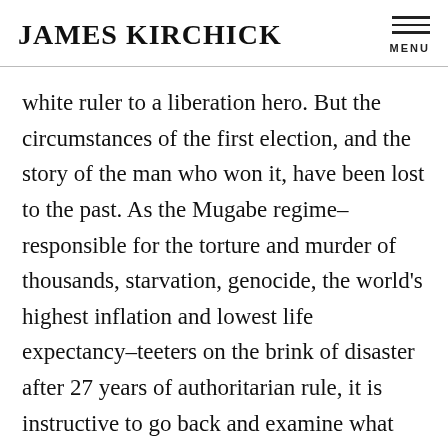JAMES KIRCHICK
white ruler to a liberation hero. But the circumstances of the first election, and the story of the man who won it, have been lost to the past. As the Mugabe regime–responsible for the torture and murder of thousands, starvation, genocide, the world's highest inflation and lowest life expectancy–teeters on the brink of disaster after 27 years of authoritarian rule, it is instructive to go back and examine what